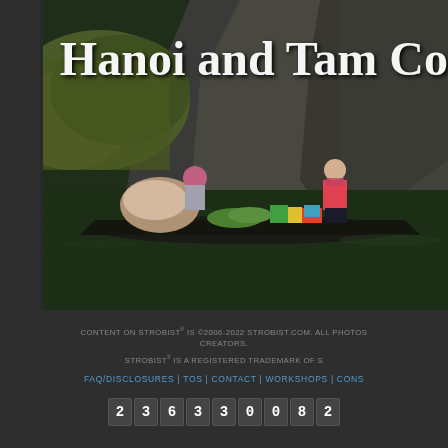[Figure (photo): Photo of two women on a wooden boat laden with market goods on a dark river, with limestone cliffs and green vegetation in the background. White serif title text 'Hanoi and Tam Co' overlaid at top right.]
CONTENT ON STROBIST® IS ©2006-2022 STROBIST.COM. ALL PHOTOS CREATORS. STROBIST® IS A REGISTERED TRADEMARK OF S FAQ/DISCLOSURES | TOS | CONTACT | WORKSHOPS | CONS 2 3 6 3 3 0 0 8 2